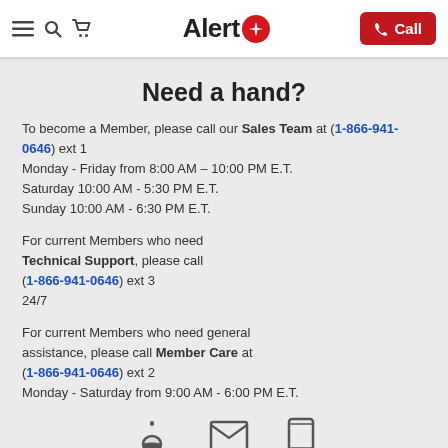Alert1 [navigation: menu, search, cart] [Call button]
Need a hand?
To become a Member, please call our Sales Team at (1-866-941-0646) ext 1
Monday - Friday from 8:00 AM – 10:00 PM E.T.
Saturday 10:00 AM - 5:30 PM E.T.
Sunday 10:00 AM - 6:30 PM E.T.
For current Members who need Technical Support, please call (1-866-941-0646) ext 3
24/7
For current Members who need general assistance, please call Member Care at (1-866-941-0646) ext 2
Monday - Saturday from 9:00 AM - 6:00 PM E.T.
[Figure (illustration): Three icons at the bottom: a service bell, an envelope, and a tablet/phone device]